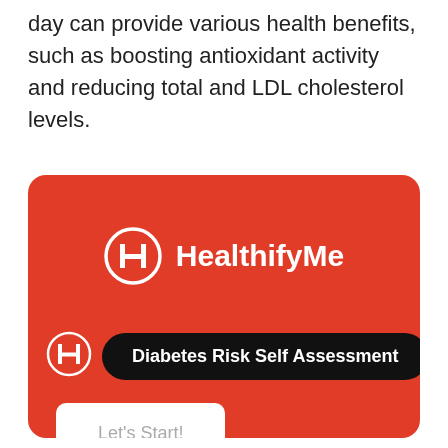day can provide various health benefits, such as boosting antioxidant activity and reducing total and LDL cholesterol levels.
[Figure (screenshot): HealthifyMe app screenshot on a red background showing the HealthifyMe logo, a 'Diabetes Risk Self Assessment' button, and a 'Let's Start!' white button.]